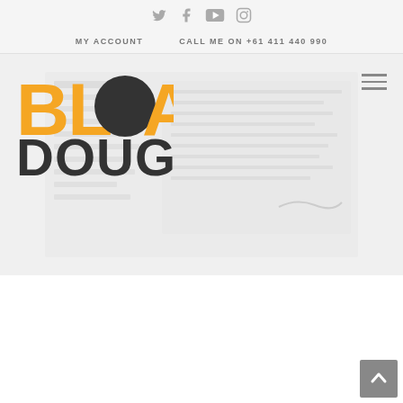[Figure (screenshot): Social media icons: Twitter, Facebook, YouTube, Instagram — displayed in a light gray header bar]
MY ACCOUNT    CALL ME ON +61 411 440 990
[Figure (logo): Blak Douglas logo — BLAK in bold orange/yellow with a dark circle replacing the O, DOUGLAS in dark charcoal bold text below]
[Figure (screenshot): Hamburger menu icon (three horizontal lines) on the right side of the header]
[Figure (photo): Faded/light hero image showing what appears to be a document or artwork page, very washed out in light gray tones]
[Figure (other): Back to top button — gray square with white up-arrow chevron, bottom right corner]